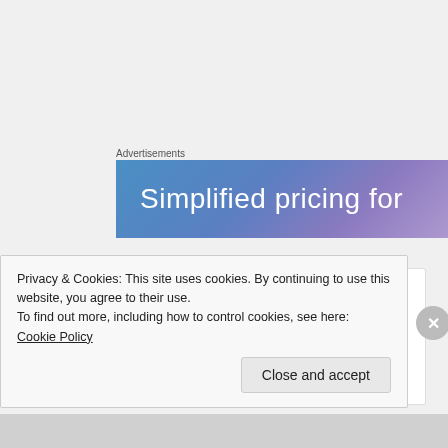Advertisements
[Figure (illustration): Advertisement banner with blue-purple gradient background and white text reading 'Simplified pricing for']
wheatietoo
09/02/2021 @ 00:54 at 00:54
Joe Biden didn't win.
Privacy & Cookies: This site uses cookies. By continuing to use this website, you agree to their use.
To find out more, including how to control cookies, see here: Cookie Policy
Close and accept